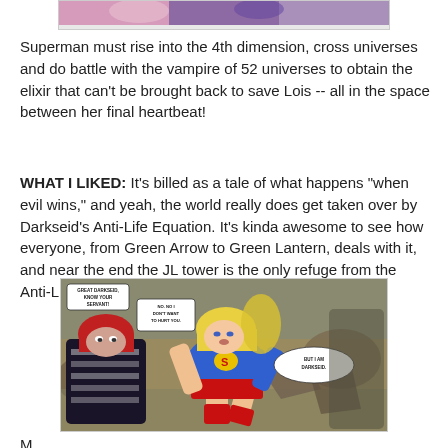[Figure (illustration): Top portion of a comic book panel showing colorful superhero figures, partially visible at the top of the page.]
Superman must rise into the 4th dimension, cross universes and do battle with the vampire of 52 universes to obtain the elixir that can't be brought back to save Lois -- all in the space between her final heartbeat!
WHAT I LIKED: It's billed as a tale of what happens "when evil wins," and yeah, the world really does get taken over by Darkseid's Anti-Life Equation. It's kinda awesome to see how everyone, from Green Arrow to Green Lantern, deals with it, and near the end the JL tower is the only refuge from the Anti-Life Equation.
[Figure (illustration): Comic book panel showing Supergirl in blue and red costume being confronted by a dark-haired figure in black and white striped clothing. Speech bubbles include text: 'GREAT DARKSEID, KNOW YOUR SERVANT!', 'NO. NO I DON'T WANT TO HURT YOU.', 'BUT I AM DARKSEID.']
M...